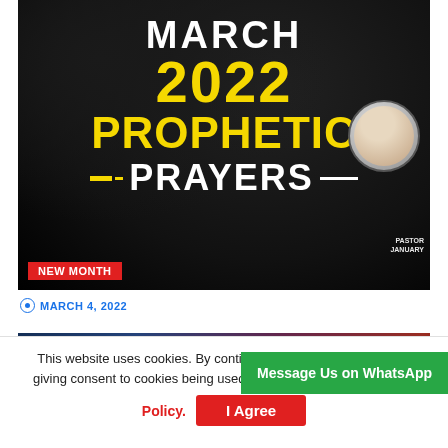[Figure (illustration): Promotional thumbnail image with dark background showing text: MARCH 2022 PROPHETIC PRAYERS with a NEW MONTH badge in red, yellow decorative dashes, and a circular portrait photo of a pastor on the right side.]
MARCH 4, 2022
[Figure (photo): Partial thumbnail image with blue, purple, and red gradient background, showing hands in a praying gesture.]
This website uses cookies. By continuing to use this site, you are giving consent to cookies being used. Visit our Privacy and Cookie Policy.
I Agree
Message Us on WhatsApp